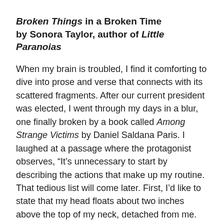Broken Things in a Broken Time by Sonora Taylor, author of Little Paranoias
When my brain is troubled, I find it comforting to dive into prose and verse that connects with its scattered fragments. After our current president was elected, I went through my days in a blur, one finally broken by a book called Among Strange Victims by Daniel Saldana Paris. I laughed at a passage where the protagonist observes, “It’s unnecessary to start by describing the actions that make up my routine. That tedious list will come later. First, I’d like to state that my head floats about two inches above the top of my neck, detached from me. From that position, it’s easier for me to observe the irritating texture of the days.” I felt both amused and comforted to see my state of mind described so well.